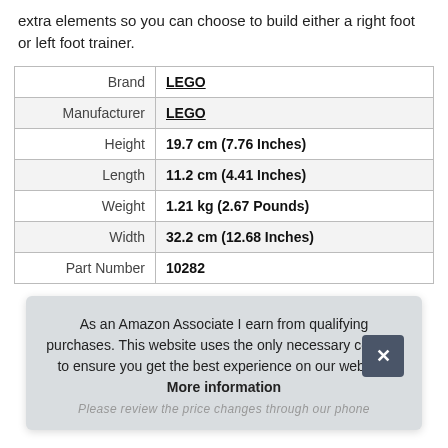extra elements so you can choose to build either a right foot or left foot trainer.
|  |  |
| --- | --- |
| Brand | LEGO |
| Manufacturer | LEGO |
| Height | 19.7 cm (7.76 Inches) |
| Length | 11.2 cm (4.41 Inches) |
| Weight | 1.21 kg (2.67 Pounds) |
| Width | 32.2 cm (12.68 Inches) |
| Part Number | 10282 |
As an Amazon Associate I earn from qualifying purchases. This website uses the only necessary cookies to ensure you get the best experience on our website. More information